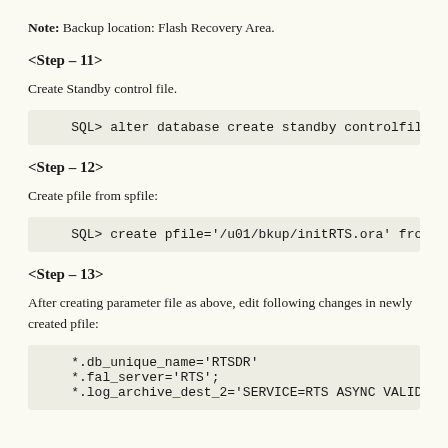Note: Backup location: Flash Recovery Area.
<Step – 11>
Create Standby control file.
SQL> alter database create standby controlfile as
<Step – 12>
Create pfile from spfile:
SQL> create pfile='/u01/bkup/initRTS.ora' from spf
<Step – 13>
After creating parameter file as above, edit following changes in newly created pfile:
*.db_unique_name='RTSDR'
*.fal_server='RTS';
*.log_archive_dest_2='SERVICE=RTS ASYNC VALID_FOR